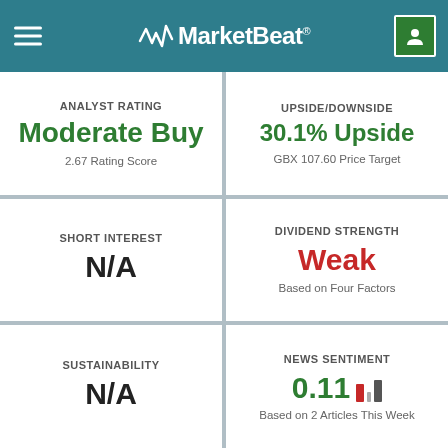MarketBeat
ANALYST RATING
Moderate Buy
2.67 Rating Score
UPSIDE/DOWNSIDE
30.1% Upside
GBX 107.60 Price Target
SHORT INTEREST
N/A
DIVIDEND STRENGTH
Weak
Based on Four Factors
SUSTAINABILITY
N/A
NEWS SENTIMENT
0.11
Based on 2 Articles This Week